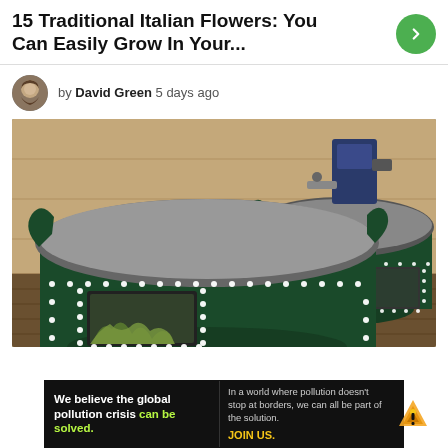15 Traditional Italian Flowers: You Can Easily Grow In Your...
by David Green 5 days ago
[Figure (photo): Two large dark green round planter containers with white dot trim and open viewing windows showing plants inside, sitting in what appears to be a workshop or barn setting with wood walls and pipes]
[Figure (infographic): Pure Earth advertisement banner: 'We believe the global pollution crisis can be solved. In a world where pollution doesn't stop at borders, we can all be part of the solution. JOIN US.' with Pure Earth logo]